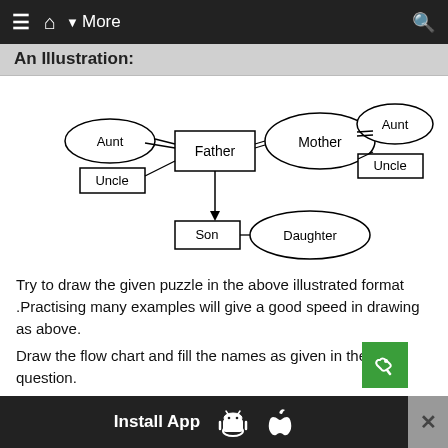≡  🏠  ▼ More   🔍
An Illustration:
[Figure (flowchart): Family tree diagram showing nodes: Aunt (oval) and Uncle (rectangle) connected to Father (rectangle), Father connected to Mother (oval), Mother connected to Aunt (oval) and Uncle (rectangle) on right side. Father has a downward arrow to Son (rectangle), Son connected to Daughter (oval).]
Try to draw the given puzzle in the above illustrated format .Practising many examples will give a good speed in drawing as above.
Draw the flow chart and fill the names as given in the question.
Install App  [Android] [Apple]  ✕